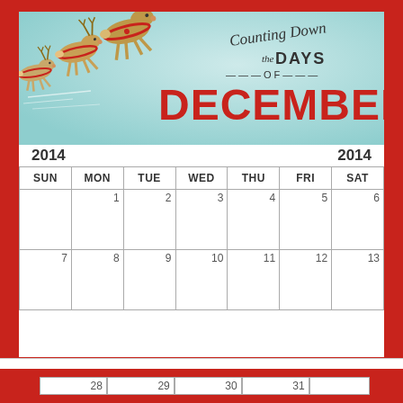[Figure (illustration): Vintage Christmas illustration with flying reindeer and cursive text reading 'Counting Down the Days of December' with large red DECEMBER text and years 2014 on both sides]
| SUN | MON | TUE | WED | THU | FRI | SAT |
| --- | --- | --- | --- | --- | --- | --- |
|  | 1 | 2 | 3 | 4 | 5 | 6 |
| 7 | 8 | 9 | 10 | 11 | 12 | 13 |
Privacy & Cookies: This site uses cookies. By continuing to use this website, you agree to their use.
To find out more, including how to control cookies, see here: Cookie Policy
Close and accept
| 28 | 29 | 30 | 31 |  |  |